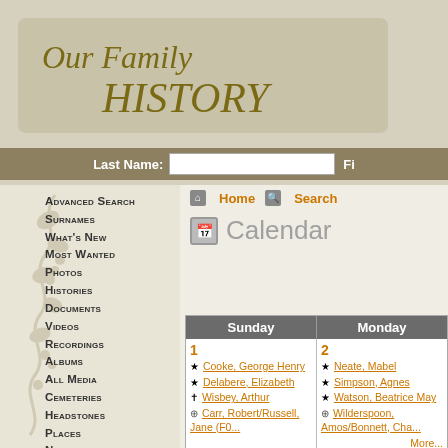Our Family HISTORY
Last Name: [input] Fi...
Advanced Search
Surnames
What's New
Most Wanted
Photos
Histories
Documents
Videos
Recordings
Albums
All Media
Cemeteries
Headstones
Places
Notes
Dates and Anniversaries
Reports
Home Search
Calendar
| Sunday | Monday |
| --- | --- |
| 1
★ Cooke, George Henry
★ Delabere, Elizabeth
✝ Wisbey, Arthur
⊕ Carr, Robert/Russell, Jane (F0... | 2
★ Neate, Mabel
★ Simpson, Agnes
★ Watson, Beatrice May
⊕ Wilderspoon, Amos/Bonnett, Cha...
More... |